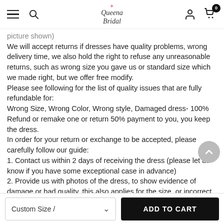Queena Bridal — navigation header with hamburger menu, search, logo, account and cart icons
picture shown)
We will accept returns if dresses have quality problems, wrong delivery time, we also hold the right to refuse any unreasonable returns, such as wrong size you gave us or standard size which we made right, but we offer free modify.
Please see following for the list of quality issues that are fully refundable for:
Wrong Size, Wrong Color, Wrong style, Damaged dress- 100% Refund or remake one or return 50% payment to you, you keep the dress.
In order for your return or exchange to be accepted, please carefully follow our guide:
1. Contact us within 2 days of receiving the dress (please let us know if you have some exceptional case in advance)
2. Provide us with photos of the dress, to show evidence of damage or bad quality, this also applies for the size, or incorrect style and colour etc.long sleeve backless dresses
3. The returned item must be in perfect condition (as new), you can try it...